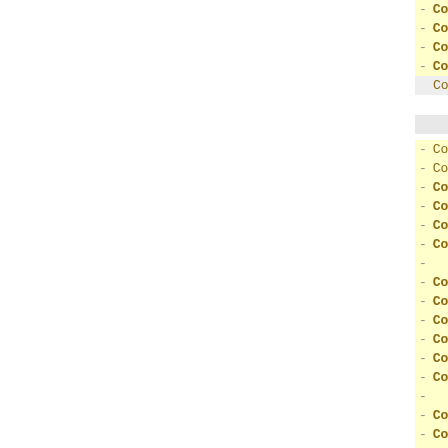- ConfAddress:="201-17.3.2007, No..."
- ConfDeadline:="2007-03-15"
- ConfURL:="http://context-07.ruc..."
- ConfNote:="paper submission"
ConfSubnote:=""
- ConfName:="Corpus Linguistics 20..."
- ConfAddress:="27.-30.7.2007, Bir..."
- ConfDeadline:="2007-01-20"
- ConfURL:="http://www.corpus.bham..."
- ConfNote:="abstract"
- ConfSubnote:=""
-
- ConfName:="CAASL-2"
- ConfAddress:="21.-22.7.2007, Sta..."
- ConfDeadline:="2007-02-26"
- ConfURL:="http://www.zoorna.org/..."
- ConfNote:="paper submission"
- ConfSubnote:=""
-
- ConfName:="MLMI 2007"
- ConfAddress:="28.-30.6.2007, Brn..."
- ConfDeadline:="2007-02-23"
- ConfURL:="http://www.mlmi07.org/..."